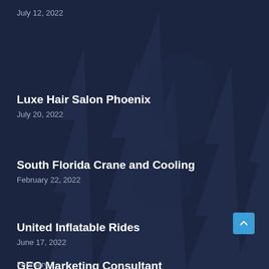July 12, 2022
Luxe Hair Salon Phoenix
July 20, 2022
South Florida Crane and Cooling
February 22, 2022
United Inflatable Rides
June 17, 2022
GEO Marketing Consultant
February 1, 2022
Patios Gold Coast Experts